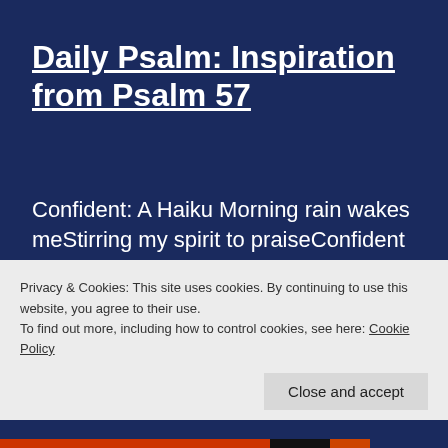Daily Psalm: Inspiration from Psalm 57
Confident: A Haiku Morning rain wakes meStirring my spirit to praiseConfident and loved Psalm 57:7-11 (NLT)My heart is confident in You, O God;my heart is confident.No wonder I can sing Your praises!Wake up, my heart!Wake up, O lyre and
Privacy & Cookies: This site uses cookies. By continuing to use this website, you agree to their use.
To find out more, including how to control cookies, see here: Cookie Policy